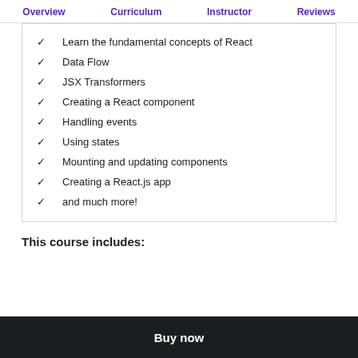Overview  Curriculum  Instructor  Reviews
Learn the fundamental concepts of React
Data Flow
JSX Transformers
Creating a React component
Handling events
Using states
Mounting and updating components
Creating a React.js app
and much more!
This course includes:
Buy now